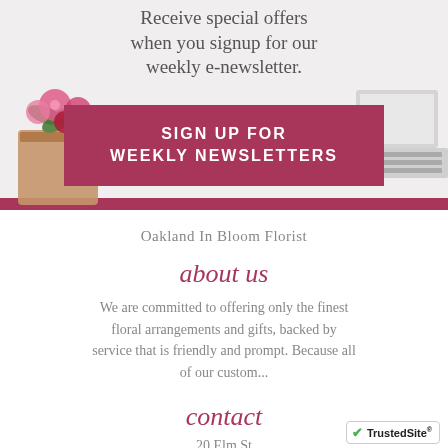Receive special offers when you signup for our weekly e-newsletter.
[Figure (illustration): Pink/red roses and flowers in a brown paper wrap on the left, and a laptop keyboard on the right, decorating a newsletter signup section. A mauve/berry colored button in the center reads SIGN UP FOR WEEKLY NEWSLETTERS.]
Oakland In Bloom Florist
about us
We are committed to offering only the finest floral arrangements and gifts, backed by service that is friendly and prompt. Because all of our custom...
contact
20 Elm St
[Figure (logo): TrustedSite badge with green checkmark]